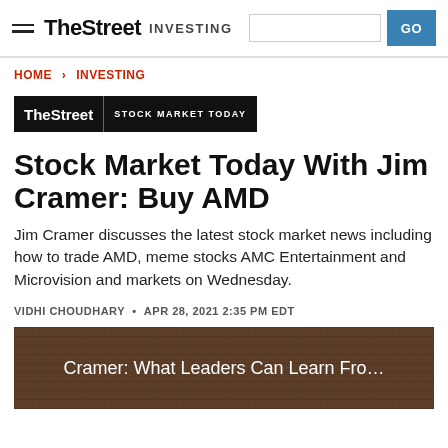TheStreet INVESTING
HOME > INVESTING
[Figure (logo): TheStreet | STOCK MARKET TODAY badge logo]
Stock Market Today With Jim Cramer: Buy AMD
Jim Cramer discusses the latest stock market news including how to trade AMD, meme stocks AMC Entertainment and Microvision and markets on Wednesday.
VIDHI CHOUDHARY • APR 28, 2021 2:35 PM EDT
[Figure (screenshot): Video thumbnail with text: Cramer: What Leaders Can Learn Fro...]